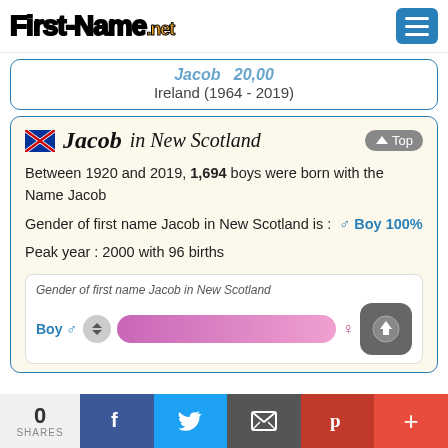First-Name.net
Jacob | Ireland (1964 - 2019)
Jacob in New Scotland
Between 1920 and 2019, 1,694 boys were born with the Name Jacob
Gender of first name Jacob in New Scotland is : ♂ Boy 100%
Peak year : 2000 with 96 births
Gender of first name Jacob in New Scotland — Boy ♂ [bar]
0 SHARES | Facebook | Twitter | Email | Pinterest | +